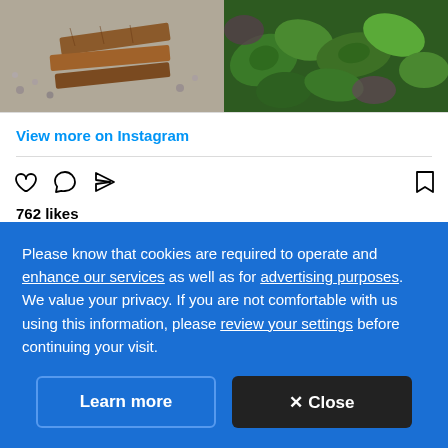[Figure (photo): Top portion of Instagram post showing raised garden beds with wood planks and gravel on the left, green leafy plants on the right]
View more on Instagram
762 likes
westcoastseeds
Building raised beds for your vegetable (or herb, or flower) garden requires an investment of work plus the cost of materials, but they will reward you in the coming years in a
Please know that cookies are required to operate and enhance our services as well as for advertising purposes. We value your privacy. If you are not comfortable with us using this information, please review your settings before continuing your visit.